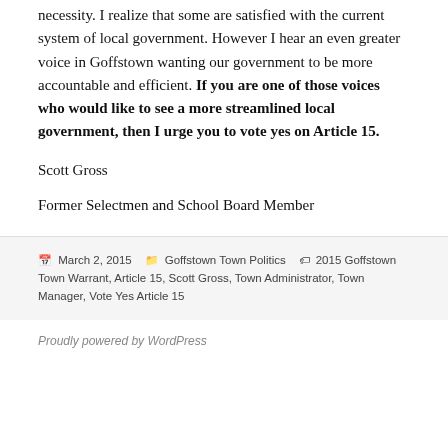necessity. I realize that some are satisfied with the current system of local government. However I hear an even greater voice in Goffstown wanting our government to be more accountable and efficient. If you are one of those voices who would like to see a more streamlined local government, then I urge you to vote yes on Article 15.
Scott Gross
Former Selectmen and School Board Member
Posted on March 2, 2015  Categories Goffstown Town Politics  Tags 2015 Goffstown Town Warrant, Article 15, Scott Gross, Town Administrator, Town Manager, Vote Yes Article 15
Proudly powered by WordPress